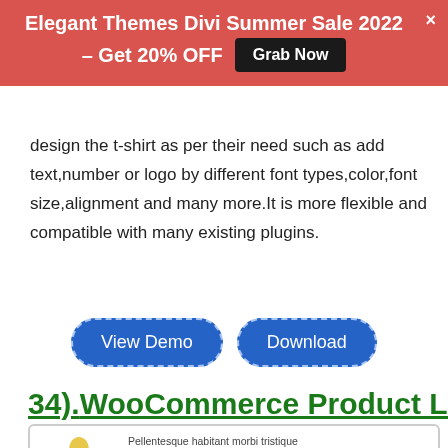Elegant Themes Divi Summer Sale 2022 – Get 20% OFF   Grab Now   ×
design the t-shirt as per their need such as add text,number or logo by different font types,color,font size,alignment and many more.It is more flexible and compatible with many existing plugins.
View Demo   Download
34).WooCommerce Product Listing
[Figure (screenshot): WooCommerce product listing row showing a gold premium charcoal product with icon, description text, price £225, and quantity input with 0]